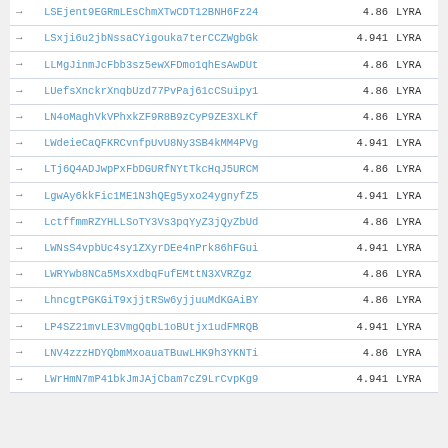|  | Code | Value | Tag |
| --- | --- | --- | --- |
| → | LSEjent9EGRmLEsChmXTwCDT12BNH6Fz24 | 4.86 | LYRA |
| → | LSxji6u2jbNssaCYigouka7terCCZWgbGk | 4.941 | LYRA |
| → | LLMgJinmJcFbb3sz5ewXFDmo1qhEsAwDUt | 4.86 | LYRA |
| → | LUefsXnckrXnqbUzd77PvPaj61cCSuipy1 | 4.86 | LYRA |
| → | LN4oMaghVkVPhxkZF9R8B9zCyP9ZE3XLKf | 4.86 | LYRA |
| → | LWdeieCaQFKRCvnfpUvU8Ny3SB4kMM4PVg | 4.941 | LYRA |
| → | LTj6Q4ADJwpPxFbDGURfNYtTkcHqJ5URCM | 4.86 | LYRA |
| → | LgwAy6kkFic1ME1N3hQEg5yxo24ygnyfZ5 | 4.941 | LYRA |
| → | LctffmmRZYHLLSoTY3Vs3pqYyZ3jQyZbUd | 4.86 | LYRA |
| → | LWNsS4vpbUc4sy1ZXyrDEe4nPrk86hFGui | 4.941 | LYRA |
| → | LWRYwb8NCa5MsXxdbqFufEMttN3XVRZgz | 4.86 | LYRA |
| → | LhncgtPGKGiT9xjjtRSw6yjjuuMdKGAiBY | 4.86 | LYRA |
| → | LP4SZ21mvLE3VmgQqbL1oBUtjx1udFMRQB | 4.941 | LYRA |
| → | LNV4zzzHDYQbmMxoauaTBuwLHK9h3YKNTi | 4.86 | LYRA |
| → | LWrHmN7mP41bkJmJAjCbam7cZ9LrCvpKg9 | 4.941 | LYRA |